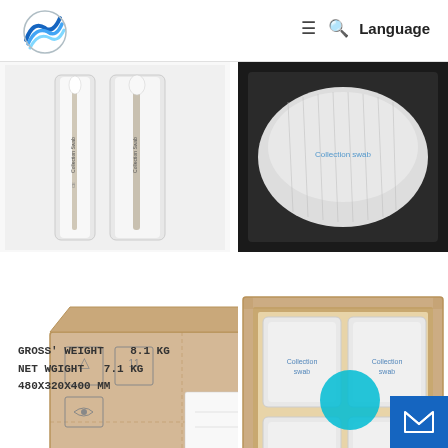Language
[Figure (photo): Medical collection swab products in individual packaging (clear plastic), showing CE marking and product labels]
[Figure (photo): Close-up of packaged medical swabs in bulk white packaging on dark background]
[Figure (photo): Corrugated cardboard shipping box with handling labels and markings, text reads 480X320X400 MM]
[Figure (photo): Open cardboard box viewed from above showing multiple white-packaged medical swab bundles inside]
GROSS' WEIGHT   8.1 KG
NET WGIGHT  7.1 KG
480X320X400 MM